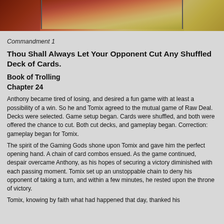[Figure (photo): Top portion of a photo showing what appears to be a red/brown ceramic pot or bowl with straw or hay in the background, cropped at top of page.]
Commandment 1
Thou Shall Always Let Your Opponent Cut Any Shuffled Deck of Cards.
Book of Trolling
Chapter 24
Anthony became tired of losing, and desired a fun game with at least a possibility of a win.  So he and Tomix agreed to the mutual game of Raw Deal.  Decks were selected.  Game setup began.  Cards were shuffled, and both were offered the chance to cut.  Both cut decks, and gameplay began.  Correction:  gameplay began for Tomix.
The spirit of the Gaming Gods shone upon Tomix and gave him the perfect opening hand.  A chain of card combos ensued.  As the game continued, despair overcame Anthony, as his hopes of securing a victory diminished with each passing moment.  Tomix set up an unstoppable chain to deny his opponent of taking a turn, and within a few minutes, he rested upon the throne of victory.
Tomix, knowing by faith what had happened that day, thanked his